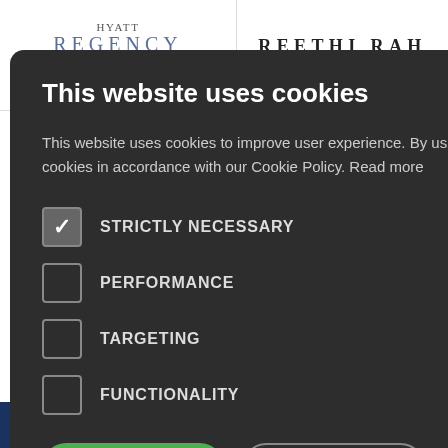[Figure (logo): Hyatt Regency Hong Kong Tsim Sha Tsui hotel logo]
[Figure (logo): Reethi Rah Maldives hotel logo]
[Figure (screenshot): Cookie consent modal overlay with dark background. Title: This website uses cookies. Body text about cookie policy. Four checkboxes: Strictly Necessary (checked), Performance, Targeting, Functionality. Two buttons: ACCEPT ALL (green) and DECLINE ALL. Show Details option. Powered by Cookie-Script footer.]
This website uses cookies to improve user experience. By using our website you consent to all cookies in accordance with our Cookie Policy. Read more
STRICTLY NECESSARY
PERFORMANCE
TARGETING
FUNCTIONALITY
ACCEPT ALL
DECLINE ALL
SHOW DETAILS
POWERED BY COOKIE-SCRIPT
Chat with us
Free counseling